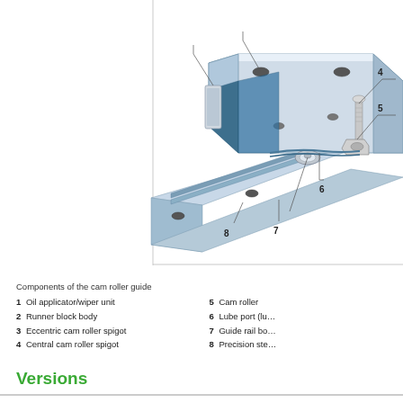[Figure (engineering-diagram): Exploded/cutaway illustration of a cam roller guide linear bearing assembly. Labeled components with callout lines: 4 (Central cam roller spigot), 5 (Cam roller), 6 (Lube port), 7 (Guide rail body), 8 (Precision steel), plus others above the visible crop. The guide shows a block carriage sitting on a profiled rail with cam rollers and oil applicator units.]
Components of the cam roller guide
1  Oil applicator/wiper unit
2  Runner block body
3  Eccentric cam roller spigot
4  Central cam roller spigot
5  Cam roller
6  Lube port (lu…)
7  Guide rail bo…
8  Precision ste…
Versions